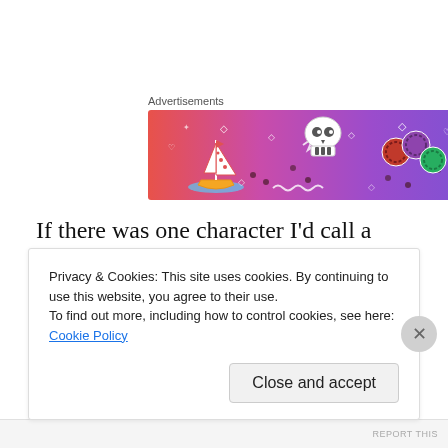[Figure (illustration): Advertisement banner with gradient background from orange-red to purple, featuring illustrated icons: a sailboat, skull, decorative balls/dice, and various small symbols like hearts, diamonds, music notes, and dots.]
If there was one character I’d call a disappointment in this episode, it would be Ron, if only because he felt too connected to Constance’s wedding rather than developing a story of his own. Ever since his return following his Soup
Privacy & Cookies: This site uses cookies. By continuing to use this website, you agree to their use.
To find out more, including how to control cookies, see here: Cookie Policy